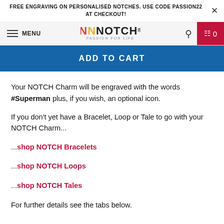FREE ENGRAVING ON PERSONALISED NOTCHES. USE CODE PASSION22 AT CHECKOUT!
MENU | NOTCH PASSION FOR LIFE | 0
ADD TO CART
Your NOTCH Charm will be engraved with the words #Superman plus, if you wish, an optional icon.
If you don't yet have a Bracelet, Loop or Tale to go with your NOTCH Charm...
...shop NOTCH Bracelets
...shop NOTCH Loops
...shop NOTCH Tales
For further details see the tabs below.